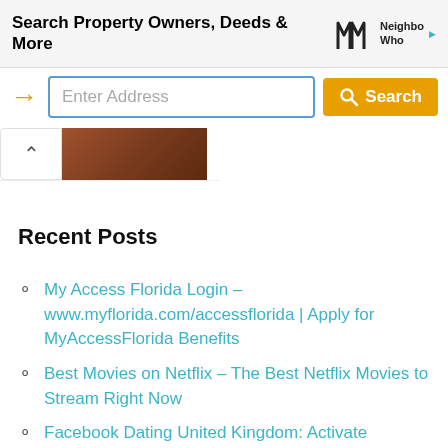[Figure (screenshot): Advertisement banner for NeighborWho property search tool with bold text 'Search Property Owners, Deeds & More', an orange arrow, a search input box with placeholder 'Enter Address', and a yellow 'Search' button. Includes NeighborWho logo on the right.]
[Figure (photo): Collapsed thumbnail image showing a dark brown wooden surface, with a caret/up arrow collapse button on the left.]
Recent Posts
My Access Florida Login – www.myflorida.com/accessflorida | Apply for MyAccessFlorida Benefits
Best Movies on Netflix – The Best Netflix Movies to Stream Right Now
Facebook Dating United Kingdom: Activate Facebook Dating United Kingdom | Dating on Facebook 2022